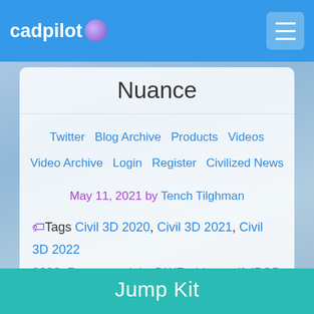cadpilot
Nuance
Twitter  Blog Archive  Products  Videos  Video Archive  Login  Register  Civilized News
May 11, 2021 by Tench Tilghman
Tags Civil 3D 2020, Civil 3D 2021, Civil 3D 2022, Recap, aerials, DWF, video, pdf, iPOD
Home | Blog | Civil 3D Photo Publication Nuance
Jump Kit